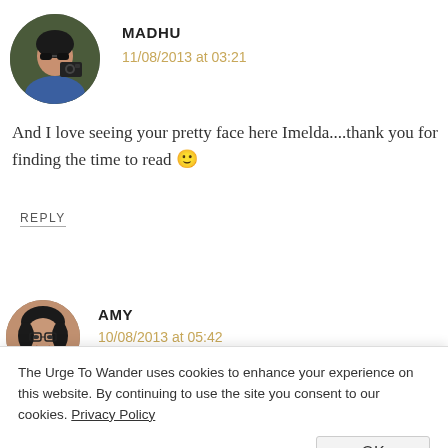[Figure (photo): Round avatar photo of Madhu, a woman with dark hair and sunglasses holding a camera]
MADHU
11/08/2013 at 03:21
And I love seeing your pretty face here Imelda....thank you for finding the time to read 🙂
REPLY
[Figure (photo): Round avatar photo of Amy, a smiling Asian woman]
AMY
10/08/2013 at 05:42
The Urge To Wander uses cookies to enhance your experience on this website. By continuing to use the site you consent to our cookies. Privacy Policy
OK
REPLY